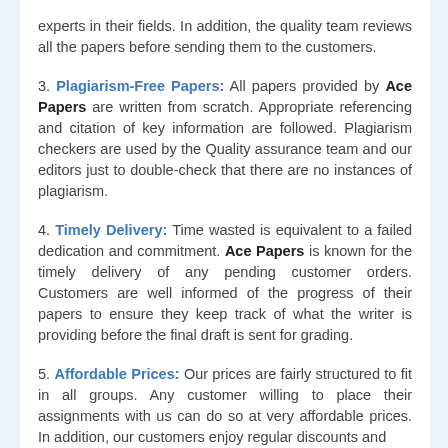experts in their fields. In addition, the quality team reviews all the papers before sending them to the customers.
3. Plagiarism-Free Papers: All papers provided by Ace Papers are written from scratch. Appropriate referencing and citation of key information are followed. Plagiarism checkers are used by the Quality assurance team and our editors just to double-check that there are no instances of plagiarism.
4. Timely Delivery: Time wasted is equivalent to a failed dedication and commitment. Ace Papers is known for the timely delivery of any pending customer orders. Customers are well informed of the progress of their papers to ensure they keep track of what the writer is providing before the final draft is sent for grading.
5. Affordable Prices: Our prices are fairly structured to fit in all groups. Any customer willing to place their assignments with us can do so at very affordable prices. In addition, our customers enjoy regular discounts and